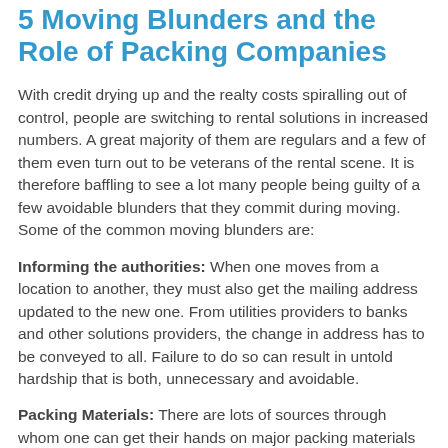5 Moving Blunders and the Role of Packing Companies
With credit drying up and the realty costs spiralling out of control, people are switching to rental solutions in increased numbers. A great majority of them are regulars and a few of them even turn out to be veterans of the rental scene. It is therefore baffling to see a lot many people being guilty of a few avoidable blunders that they commit during moving. Some of the common moving blunders are:
Informing the authorities: When one moves from a location to another, they must also get the mailing address updated to the new one. From utilities providers to banks and other solutions providers, the change in address has to be conveyed to all. Failure to do so can result in untold hardship that is both, unnecessary and avoidable.
Packing Materials: There are lots of sources through whom one can get their hands on major packing materials like boxes and stuff. Recyclers, community forums, neighbourhood retailers, etc. are some of them more